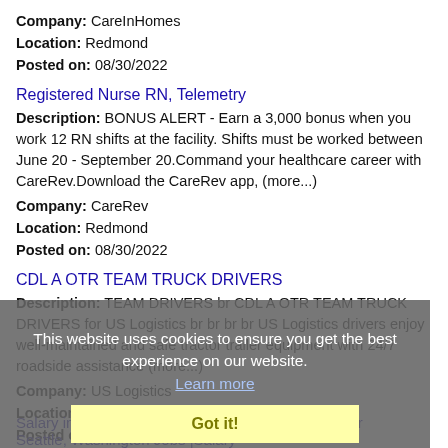Company: CareInHomes
Location: Redmond
Posted on: 08/30/2022
Registered Nurse RN, Telemetry
Description: BONUS ALERT - Earn a 3,000 bonus when you work 12 RN shifts at the facility. Shifts must be worked between June 20 - September 20.Command your healthcare career with CareRev.Download the CareRev app, (more...)
Company: CareRev
Location: Redmond
Posted on: 08/30/2022
CDL A OTR TEAM TRUCK DRIVERS
Description: TEAM DRIVERS br CDL A OTR TEAM TRUCK DRIVERS for US Logistics br br br br US Logistics drivers enjoy well-maintained and safe tractor trailer equipment with 24/7 roadside assistance (more...)
Company: US Logistics
Location: Redmond
Posted on: 08/30/2022
This website uses cookies to ensure you get the best experience on our website.
Learn more
Got it!
Salary in Seattle, Washington Area | More details for Seattle, Washington Jobs |Salary